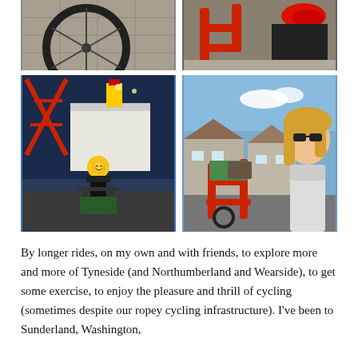[Figure (photo): Top-left: close-up of a bicycle wheel on pavement]
[Figure (photo): Top-right: close-up of a red cargo bike frame with a child's red shoe visible]
[Figure (photo): Bottom-left: child in a helmet standing with a red cargo bike at dusk with a cruise ship and red structure visible in background]
[Figure (photo): Bottom-right: selfie of a woman with blonde hair next to a red cargo bike loaded with bags, suburban street in background]
By longer rides, on my own and with friends, to explore more and more of Tyneside (and Northumberland and Wearside), to get some exercise, to enjoy the pleasure and thrill of cycling (sometimes despite our ropey cycling infrastructure). I've been to Sunderland, Washington,